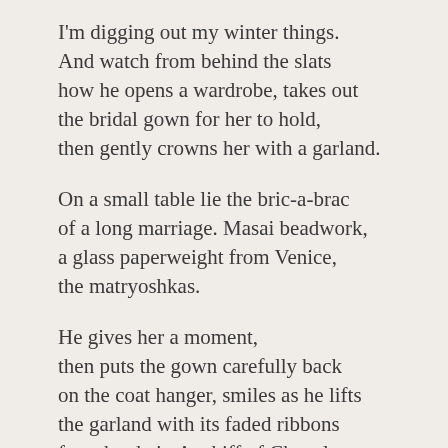I'm digging out my winter things.
And watch from behind the slats
how he opens a wardrobe, takes out
the bridal gown for her to hold,
then gently crowns her with a garland.
On a small table lie the bric-a-brac
of a long marriage. Masai beadwork,
a glass paperweight from Venice,
the matryoshkas.
He gives her a moment,
then puts the gown carefully back
on the coat hanger, smiles as he lifts
the garland with its faded ribbons
from her hair. A whiff of Chanel.
He makes sure she's comfortable
on the walker and wheels her away,